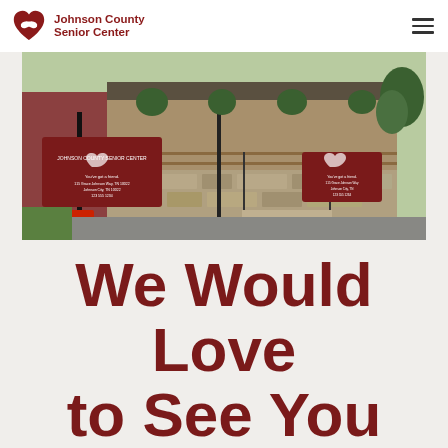Johnson County Senior Center
[Figure (photo): Exterior photograph of Johnson County Senior Center building showing a brick structure with a covered porch, stone foundation, entrance ramps with railings, hanging flower baskets, and signs in front including a parking sign and a red marquee sign.]
We Would Love to See You